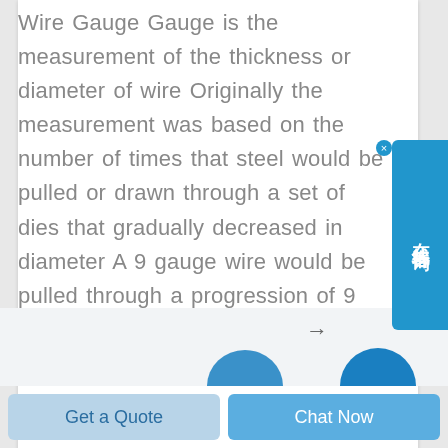Wire Gauge Gauge is the measurement of the thickness or diameter of wire Originally the measurement was based on the number of times that steel would be pulled or drawn through a set of dies that gradually decreased in diameter A 9 gauge wire would be pulled through a progression of 9 dies where 14 gauge wire would be
[Figure (screenshot): Chinese online chat widget button in blue, with text 在线咨询 (online consultation) and a close X button]
[Figure (screenshot): Navigation arrow pointing right and two partial circular icons at bottom of page]
Get a Quote
Chat Now